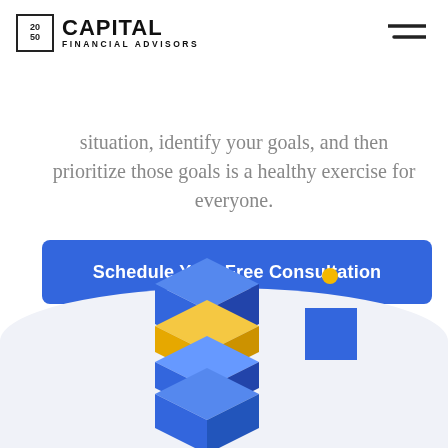[20/50] CAPITAL FINANCIAL ADVISORS
situation, identify your goals, and then prioritize those goals is a healthy exercise for everyone.
Schedule Your Free Consultation
[Figure (illustration): Decorative geometric illustration with blue ring, yellow circle, stacked 3D blue and yellow blocks, small blue square, and small yellow dot on a light blue curved background.]